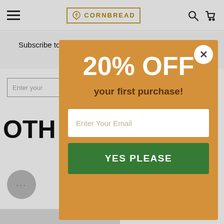CORNBREAD (logo with hamburger menu, search, cart icons)
Subscribe to get special offers, free giveaways, and new product launches!
[Figure (screenshot): Modal popup with golden/amber background showing 20% OFF your first purchase discount offer with email input field and YES PLEASE button]
OTH
National Wellness Month F...